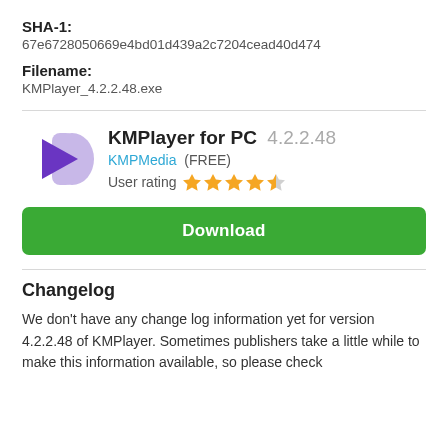SHA-1:
67e6728050669e4bd01d439a2c7204cead40d474
Filename:
KMPlayer_4.2.2.48.exe
[Figure (logo): KMPlayer logo: purple play button with light purple background shape]
KMPlayer for PC 4.2.2.48
KMPMedia (FREE)
User rating ★★★★½
Download
Changelog
We don't have any change log information yet for version 4.2.2.48 of KMPlayer. Sometimes publishers take a little while to make this information available, so please check